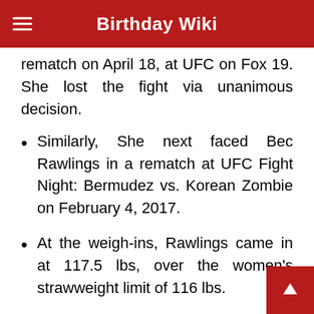Birthday Wiki
rematch on April 18, at UFC on Fox 19. She lost the fight via unanimous decision.
Similarly, She next faced Bec Rawlings in a rematch at UFC Fight Night: Bermudez vs. Korean Zombie on February 4, 2017.
At the weigh-ins, Rawlings came in at 117.5 lbs, over the women's strawweight limit of 116 lbs.
As a result, Rawlings was fined 20% of her purse, which went to Tecia Torres and